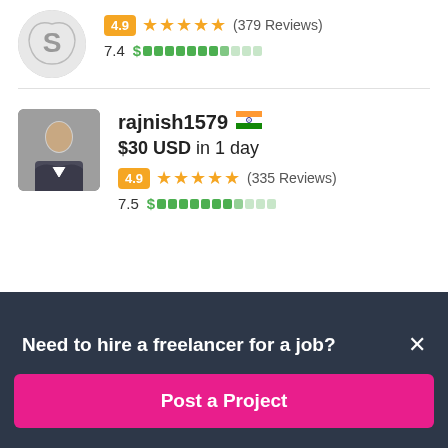[Figure (screenshot): Freelancer listing page screenshot showing two freelancer entries with ratings, reviews, and pricing, plus a 'Need to hire a freelancer for a job?' banner at the bottom with a 'Post a Project' button.]
4.9 ★★★★★ (379 Reviews)
7.4 $ [progress bar]
rajnish1579 🇮🇳
$30 USD in 1 day
4.9 ★★★★★ (335 Reviews)
7.5 $ [progress bar]
Need to hire a freelancer for a job?
Post a Project